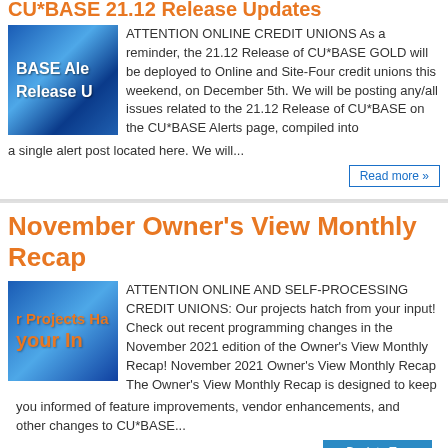CU*BASE 21.12 Release Updates
[Figure (illustration): Blue textured background image with text 'BASE Alerts Release U...' in white bold font]
ATTENTION ONLINE CREDIT UNIONS As a reminder, the 21.12 Release of CU*BASE GOLD will be deployed to Online and Site-Four credit unions this weekend, on December 5th. We will be posting any/all issues related to the 21.12 Release of CU*BASE on the CU*BASE Alerts page, compiled into a single alert post located here. We will...
Read more »
November Owner's View Monthly Recap
[Figure (illustration): Blue background image with orange text 'r Projects Ha' and 'Your In...']
ATTENTION ONLINE AND SELF-PROCESSING CREDIT UNIONS: Our projects hatch from your input! Check out recent programming changes in the November 2021 edition of the Owner's View Monthly Recap! November 2021 Owner's View Monthly Recap The Owner's View Monthly Recap is designed to keep you informed of feature improvements, vendor enhancements, and other changes to CU*BASE...
↑ Back to Top ↑
CU*BASE Release 21.12 is A...